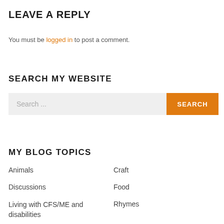LEAVE A REPLY
You must be logged in to post a comment.
SEARCH MY WEBSITE
Search ...
MY BLOG TOPICS
Animals
Craft
Discussions
Food
Living with CFS/ME and disabilities
Rhymes